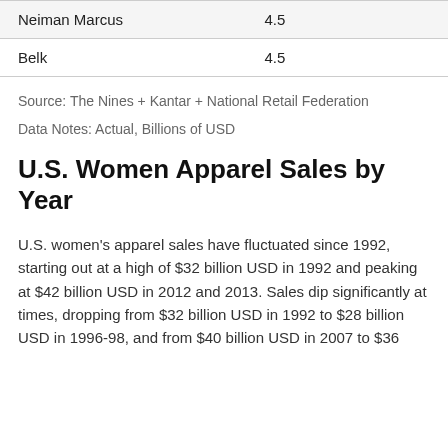|  |  |
| --- | --- |
| Neiman Marcus | 4.5 |
| Belk | 4.5 |
Source: The Nines + Kantar + National Retail Federation
Data Notes: Actual, Billions of USD
U.S. Women Apparel Sales by Year
U.S. women's apparel sales have fluctuated since 1992, starting out at a high of $32 billion USD in 1992 and peaking at $42 billion USD in 2012 and 2013. Sales dip significantly at times, dropping from $32 billion USD in 1992 to $28 billion USD in 1996-98, and from $40 billion USD in 2007 to $36